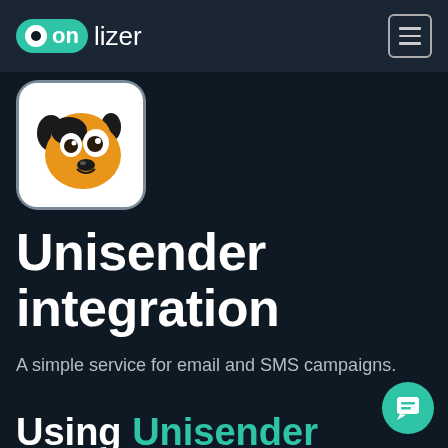onlizer
[Figure (logo): Onlizer logo with green circle and 'on' text followed by 'lizer' in white]
[Figure (illustration): App icon with cartoon dog face on white rounded rectangle background with grey border]
Unisender integration
A simple service for email and SMS campaigns.
Using Unisender and how to use for integration